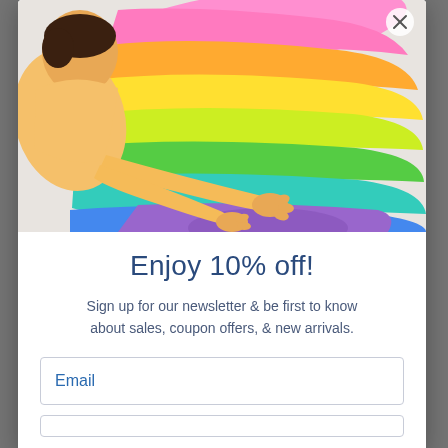[Figure (photo): A child wearing a yellow long-sleeve shirt reaching toward a large rainbow-colored draped fabric spread on a white surface, viewed from above. The fabric shows bands of pink, orange, yellow, green, teal, blue, and purple.]
Enjoy 10% off!
Sign up for our newsletter & be first to know about sales, coupon offers, & new arrivals.
Email